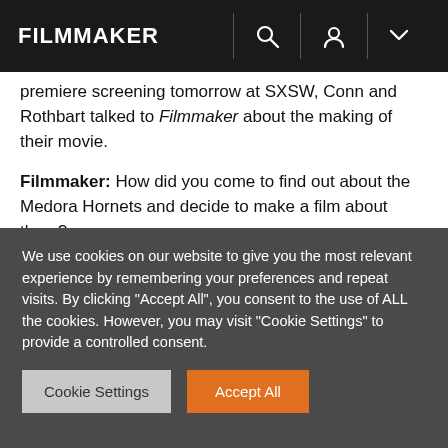FILMMAKER
premiere screening tomorrow at SXSW, Conn and Rothbart talked to Filmmaker about the making of their movie.
Filmmaker: How did you come to find out about the Medora Hornets and decide to make a film about them?
[Figure (screenshot): Dark background image showing the text '...the' in large white bold letters with grainy texture]
We use cookies on our website to give you the most relevant experience by remembering your preferences and repeat visits. By clicking "Accept All", you consent to the use of ALL the cookies. However, you may visit "Cookie Settings" to provide a controlled consent.